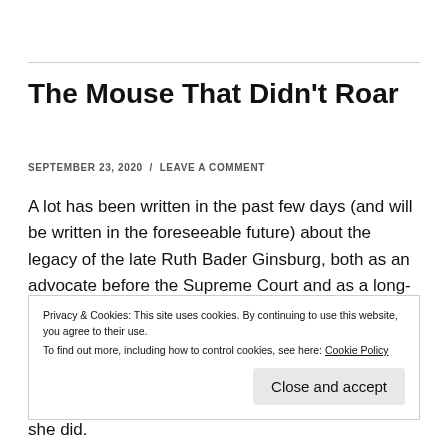The Mouse That Didn't Roar
SEPTEMBER 23, 2020 / LEAVE A COMMENT
A lot has been written in the past few days (and will be written in the foreseeable future) about the legacy of the late Ruth Bader Ginsburg, both as an advocate before the Supreme Court and as a long-serving Justice. I wanted to highlight something that might get
Privacy & Cookies: This site uses cookies. By continuing to use this website, you agree to their use.
To find out more, including how to control cookies, see here: Cookie Policy
Close and accept
she did.